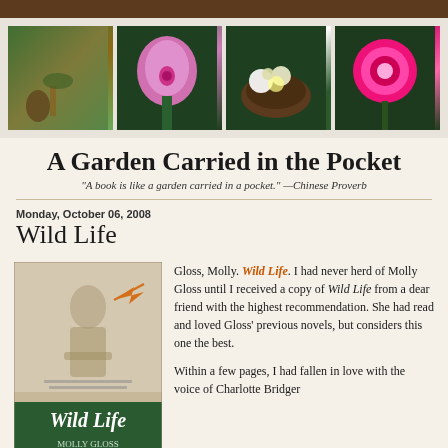[Figure (photo): Four garden photos side by side: a garden path, a pink lily flower, white flowers in a dark pot, and bright pink carnations]
A Garden Carried in the Pocket
"A book is like a garden carried in a pocket." —Chinese Proverb
Monday, October 06, 2008
Wild Life
[Figure (photo): Book cover of Wild Life by Molly Gloss, showing a woman sitting and the book title at the bottom with green background]
Gloss, Molly. Wild Life. I had never herd of Molly Gloss until I received a copy of Wild Life from a dear friend with the highest recommendation. She had read and loved Gloss' previous novels, but considers this one the best.

Within a few pages, I had fallen in love with the voice of Charlotte Bridger